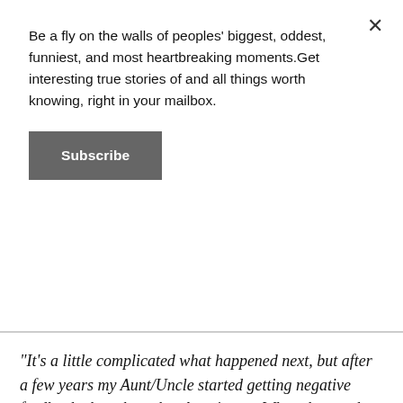Be a fly on the walls of peoples' biggest, oddest, funniest, and most heartbreaking moments.Get interesting true stories of and all things worth knowing, right in your mailbox.
Subscribe
"It's a little complicated what happened next, but after a few years my Aunt/Uncle started getting negative feedback about how the place is run. When they spoke to my cousin's husband they offered him more money thinking it was a motivation issue. They were already overpaid and could afford their own million